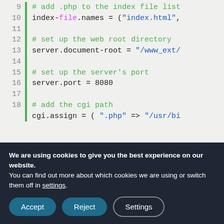[Figure (screenshot): Code editor screenshot showing lines 9–18 of a lighttpd configuration file. Lines include comments and configuration directives for index file names, document root, server port, and cgi.assign.]
Now you can save the lighttpd.conf file and close it. In the next step we will create the web root directory and start LigHTTPD as a
We are using cookies to give you the best experience on our website.
You can find out more about which cookies we are using or switch them off in settings.